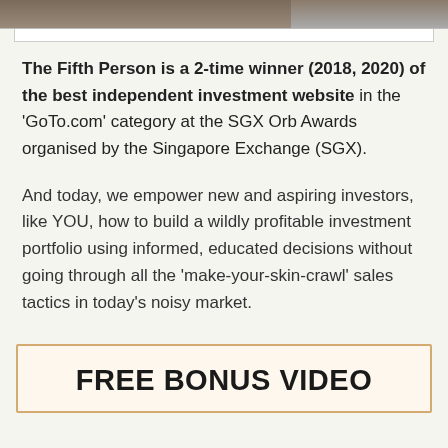[Figure (photo): Partial image strip at top of page showing two images side by side]
The Fifth Person is a 2-time winner (2018, 2020) of the best independent investment website in the 'GoTo.com' category at the SGX Orb Awards organised by the Singapore Exchange (SGX).
And today, we empower new and aspiring investors, like YOU, how to build a wildly profitable investment portfolio using informed, educated decisions without going through all the 'make-your-skin-crawl' sales tactics in today's noisy market.
FREE BONUS VIDEO